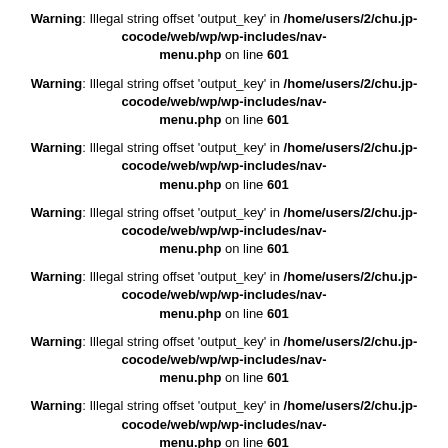Warning: Illegal string offset 'output_key' in /home/users/2/chu.jp-cocode/web/wp/wp-includes/nav-menu.php on line 601
Warning: Illegal string offset 'output_key' in /home/users/2/chu.jp-cocode/web/wp/wp-includes/nav-menu.php on line 601
Warning: Illegal string offset 'output_key' in /home/users/2/chu.jp-cocode/web/wp/wp-includes/nav-menu.php on line 601
Warning: Illegal string offset 'output_key' in /home/users/2/chu.jp-cocode/web/wp/wp-includes/nav-menu.php on line 601
Warning: Illegal string offset 'output_key' in /home/users/2/chu.jp-cocode/web/wp/wp-includes/nav-menu.php on line 601
Warning: Illegal string offset 'output_key' in /home/users/2/chu.jp-cocode/web/wp/wp-includes/nav-menu.php on line 601
Warning: Illegal string offset 'output_key' in /home/users/2/chu.jp-cocode/web/wp/wp-includes/nav-menu.php on line 601
2014/1/13  コメント  タグ6